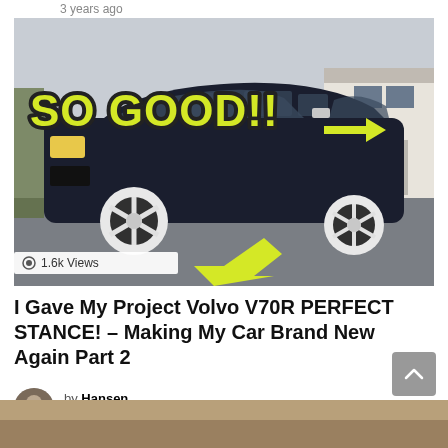3 years ago
[Figure (photo): Dark blue Volvo V70R wagon on a driveway with yellow text overlay 'SO GOOD!!' and two yellow arrows pointing at the lowered stance and side mirror]
1.6k Views
I Gave My Project Volvo V70R PERFECT STANCE! – Making My Car Brand New Again Part 2
by Hansen
3 years ago